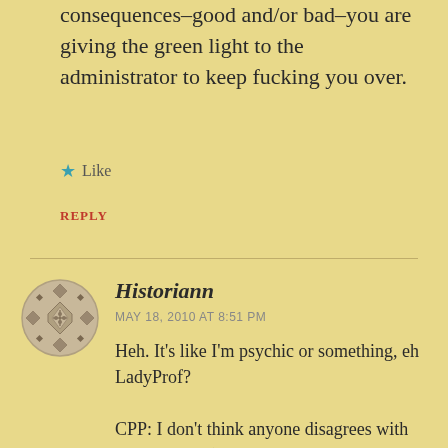consequences–good and/or bad–you are giving the green light to the administrator to keep fucking you over.
★ Like
REPLY
[Figure (illustration): Circular avatar with geometric diamond/cross pattern in muted tan and gray tones]
Historiann
MAY 18, 2010 AT 8:51 PM
Heh. It's like I'm psychic or something, eh LadyProf?
CPP: I don't think anyone disagrees with your advice. (At least, I don't. I've also